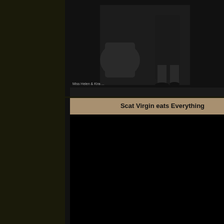[Figure (photo): Photo of two people, partially cropped at top, with small text watermark at bottom left corner]
Scat Virgin eats Everything
[Figure (photo): Black/dark image thumbnail]
Public human toilet paper
[Figure (photo): Black/dark image thumbnail]
MISTRESS GAIA - HOME TOILET SLAVE
[Figure (photo): Black/dark image thumbnail, partially visible]